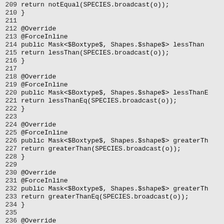Source code listing lines 209-238